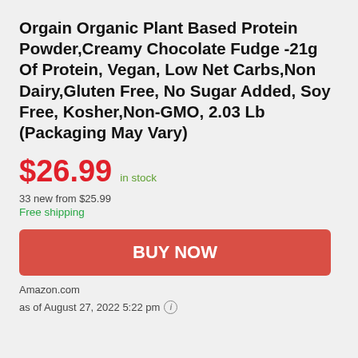Orgain Organic Plant Based Protein Powder,Creamy Chocolate Fudge -21g Of Protein, Vegan, Low Net Carbs,Non Dairy,Gluten Free, No Sugar Added, Soy Free, Kosher,Non-GMO, 2.03 Lb (Packaging May Vary)
$26.99 in stock
33 new from $25.99
Free shipping
BUY NOW
Amazon.com
as of August 27, 2022 5:22 pm ℹ